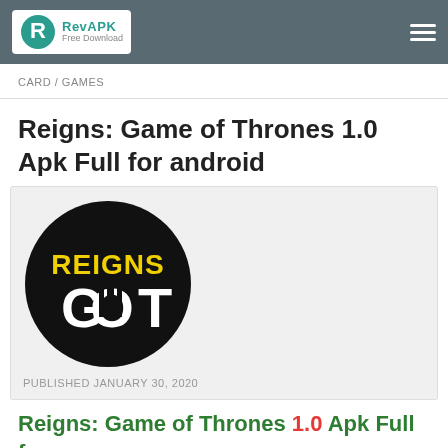RevAPK Free Download
CARD / GAMES
Reigns: Game of Thrones 1.0 Apk Full for android
[Figure (logo): Reigns GOT circular logo on black background with yellow REIGNS text and white GOT text]
PUBLISHED JANUARY 30, 2020
Reigns: Game of Thrones 1.0 Apk Full for